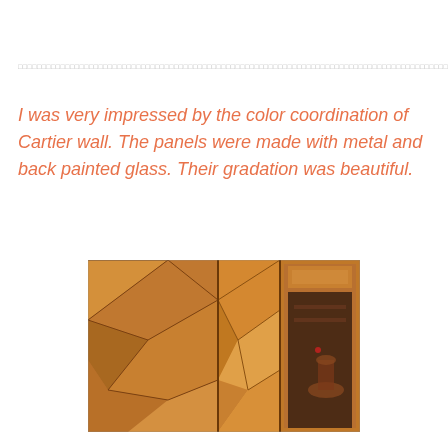カルティエの壁のカラーコーディネーションにとても感銘を受けました。パネルはメタルとバックペイントガラスで作られていました。そのグラデーションは美しかったです。
I was very impressed by the color coordination of Cartier wall. The panels were made with metal and back painted glass. Their gradation was beautiful.
[Figure (photo): Photo of Cartier wall panels made with metal and back painted glass, showing geometric triangular patterns in warm golden/orange tones, with a doorway or mirror visible on the right side reflecting interior shelving.]